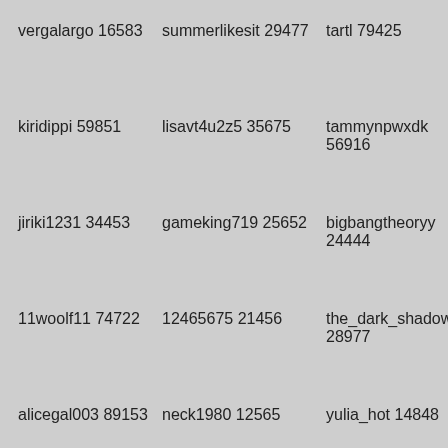vergalargo 16583
summerlikesit 29477
tartl 79425
kiridippi 59851
lisavt4u2z5 35675
tammynpwxdk 56916
jiriki1231 34453
gameking719 25652
bigbangtheoryy 24444
11woolf11 74722
12465675 21456
the_dark_shadow 28977
alicegal003 89153
neck1980 12565
yulia_hot 14848